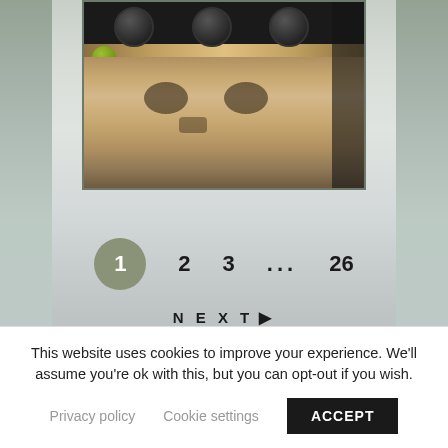[Figure (photo): A close-up photo of the underside of a skateboard showing wheels and trucks, with a carved skull deck visible. Green and yellow objects visible on the left side. Dark background with wooden skateboard deck.]
1
2
3
...
26
NEXT →
This website uses cookies to improve your experience. We'll assume you're ok with this, but you can opt-out if you wish.
Privacy policy  Cookie settings  ACCEPT